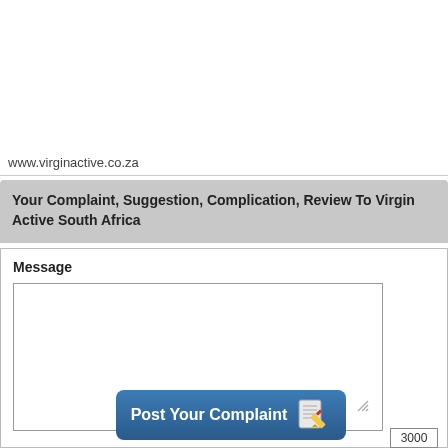www.virginactive.co.za
Your Complaint, Suggestion, Complication, Review To Virgin Active South Africa
Message
Post Your Complaint
3000